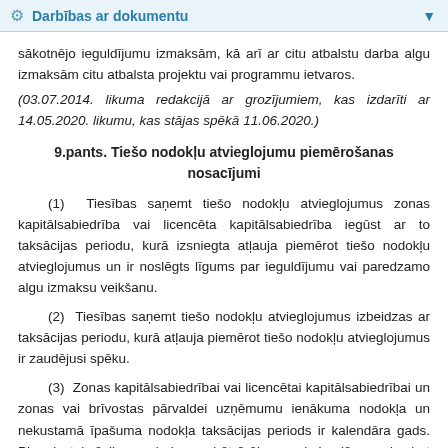Darbības ar dokumentu
sākotnējo ieguldījumu izmaksām, kā arī ar citu atbalstu darba algu izmaksām citu atbalsta projektu vai programmu ietvaros.
(03.07.2014. likuma redakcijā ar grozījumiem, kas izdarīti ar 14.05.2020. likumu, kas stājas spēkā 11.06.2020.)
9.pants. Tiešo nodokļu atvieglojumu piemērošanas nosacījumi
(1) Tiesības saņemt tiešo nodokļu atvieglojumus zonas kapitālsabiedrība vai licencēta kapitālsabiedrība iegūst ar to taksācijas periodu, kurā izsniegta atļauja piemērot tiešo nodokļu atvieglojumus un ir noslēgts līgums par ieguldījumu vai paredzamo algu izmaksu veikšanu.
(2) Tiesības saņemt tiešo nodokļu atvieglojumus izbeidzas ar taksācijas periodu, kurā atļauja piemērot tiešo nodokļu atvieglojumus ir zaudējusi spēku.
(3) Zonas kapitālsabiedrībai vai licencētai kapitālsabiedrībai un zonas vai brīvostas pārvaldei uzņēmumu ienākuma nodokļa un nekustamā īpašuma nodokļa taksācijas periods ir kalendāra gads. Pirmais taksācijas periods var būt īsāks par kalendāra gadu, bet nevar